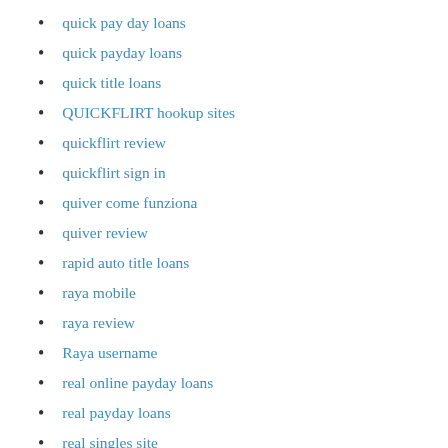quick pay day loans
quick payday loans
quick title loans
QUICKFLIRT hookup sites
quickflirt review
quickflirt sign in
quiver come funziona
quiver review
rapid auto title loans
raya mobile
raya review
Raya username
real online payday loans
real payday loans
real singles site
real singles site review